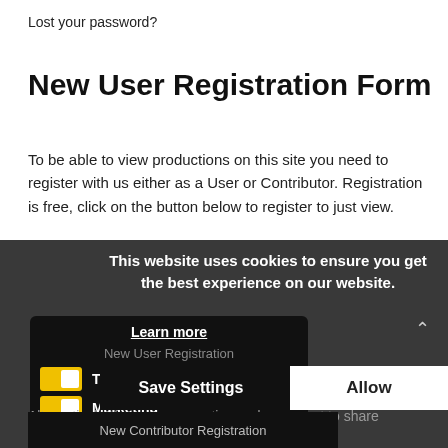Lost your password?
New User Registration Form
To be able to view productions on this site you need to register with us either as a User or Contributor. Registration is free, click on the button below to register to just view.
This website uses cookies to ensure you get the best experience on our website.
Learn more
New User Registration
Technical
Marketing
Alternatively, if you are a creative and may want to share your work with us in the future.
Save Settings
Allow
New Contributor Registration